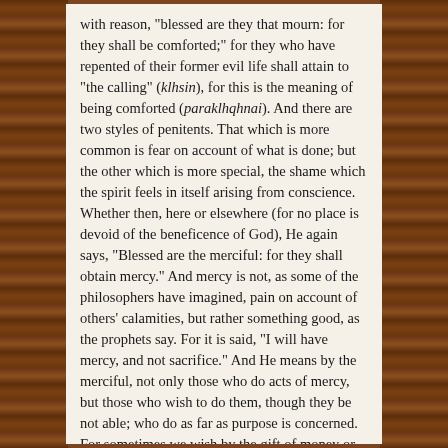with reason, "blessed are they that mourn: for they shall be comforted;" for they who have repented of their former evil life shall attain to "the calling" (klhsin), for this is the meaning of being comforted (paraklhqhnai). And there are two styles of penitents. That which is more common is fear on account of what is done; but the other which is more special, the shame which the spirit feels in itself arising from conscience. Whether then, here or elsewhere (for no place is devoid of the beneficence of God), He again says, "Blessed are the merciful: for they shall obtain mercy." And mercy is not, as some of the philosophers have imagined, pain on account of others' calamities, but rather something good, as the prophets say. For it is said, "I will have mercy, and not sacrifice." And He means by the merciful, not only those who do acts of mercy, but those who wish to do them, though they be not able; who do as far as purpose is concerned. For sometimes we wish by the gift of money or by personal effort to do mercy, as to assist one in want, or help one who is sick, or stand by one who is in any emergency; and are not able either from poverty, or disease, or old age (for this also is natural disease), to carry out our purpose, in reference to the things to which we are impelled.